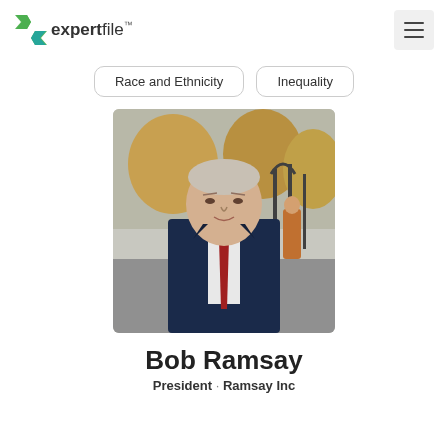[Figure (logo): Expertfile logo with green X icon and text 'expertfile']
Race and Ethnicity
Inequality
[Figure (photo): Photo of Bob Ramsay, an older man wearing a dark blue pinstripe suit with a red tie, photographed outdoors with trees and wrought iron gate in background]
Bob Ramsay
President · Ramsay Inc